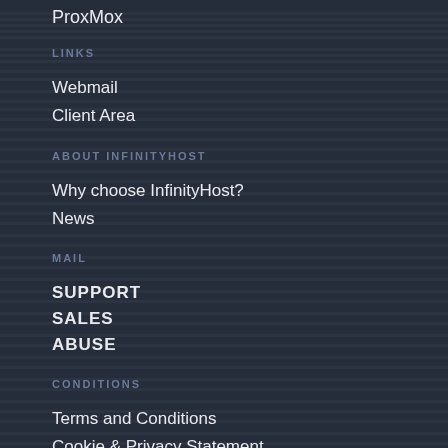ProxMox
LINKS
Webmail
Client Area
ABOUT INFINITYHOST
Why choose InfinityHost?
News
MAIL
SUPPORT
SALES
ABUSE
CONDITIONS
Terms and Conditions
Cookie & Privacy Statement